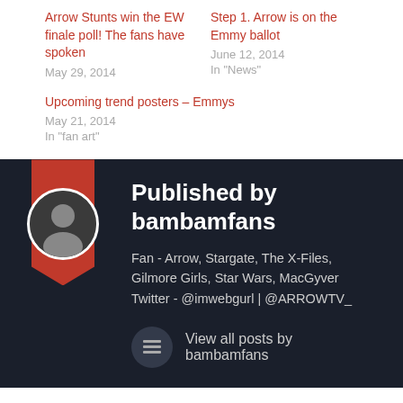Arrow Stunts win the EW finale poll! The fans have spoken
May 29, 2014
In "News"
Step 1. Arrow is on the Emmy ballot
June 12, 2014
In "News"
Upcoming trend posters – Emmys
May 21, 2014
In "fan art"
Published by bambamfans
Fan - Arrow, Stargate, The X-Files, Gilmore Girls, Star Wars, MacGyver Twitter - @imwebgurl | @ARROWTV_
View all posts by bambamfans